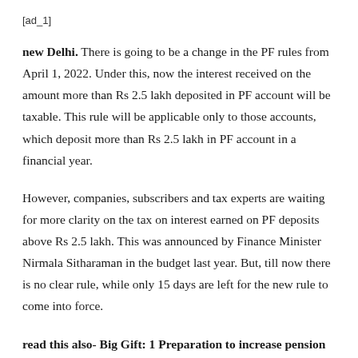[ad_1]
new Delhi. There is going to be a change in the PF rules from April 1, 2022. Under this, now the interest received on the amount more than Rs 2.5 lakh deposited in PF account will be taxable. This rule will be applicable only to those accounts, which deposit more than Rs 2.5 lakh in PF account in a financial year.
However, companies, subscribers and tax experts are waiting for more clarity on the tax on interest earned on PF deposits above Rs 2.5 lakh. This was announced by Finance Minister Nirmala Sitharaman in the budget last year. But, till now there is no clear rule, while only 15 days are left for the new rule to come into force.
read this also- Big Gift: 1 Preparation to increase pension amount of crore beneficiaries, every month 1500 plan to give Rs.